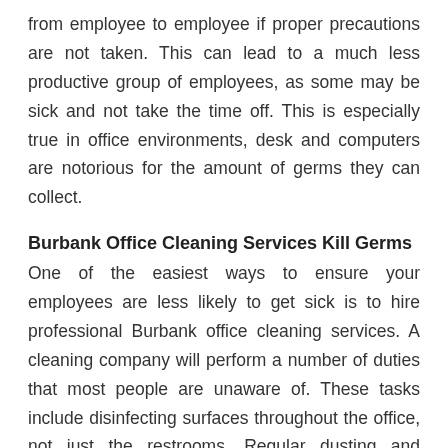from employee to employee if proper precautions are not taken. This can lead to a much less productive group of employees, as some may be sick and not take the time off. This is especially true in office environments, desk and computers are notorious for the amount of germs they can collect.
Burbank Office Cleaning Services Kill Germs
One of the easiest ways to ensure your employees are less likely to get sick is to hire professional Burbank office cleaning services. A cleaning company will perform a number of duties that most people are unaware of. These tasks include disinfecting surfaces throughout the office, not just the restrooms. Regular dusting and disinfecting is one of the best methods of preventing the spread